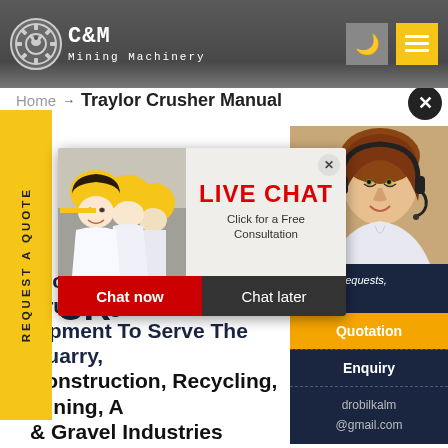[Figure (screenshot): C&M Mining Machinery website header with logo, moon icon, and hamburger menu on dark background]
C&M Mining Machinery
Home → Traylor Crusher Manual
[Figure (screenshot): Live chat popup overlay with construction workers wearing yellow helmets, LIVE CHAT heading in red, 'Click for a Free Consultation' text, Chat now (red) and Chat later (dark) buttons]
[Figure (photo): Customer service woman wearing headset on right panel]
ave any requests, ick here.
Quotation
Enquiry
drobilkalm @gmail.com
REQUEST A QUOTE
Provide Screening & Crushing Equipment To Serve The Quarry, Construction, Recycling, Mining, Aggregate & Gravel Industries